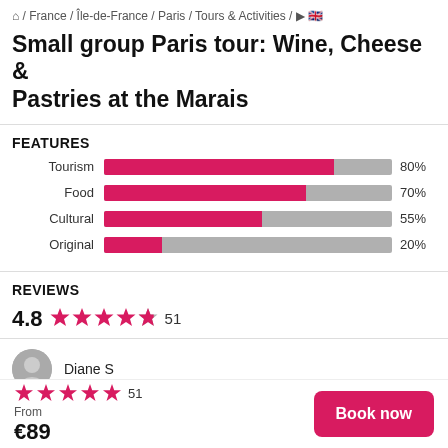⌂ / France / Île-de-France / Paris / Tours & Activities / ▶ 🇬🇧
Small group Paris tour: Wine, Cheese & Pastries at the Marais
FEATURES
[Figure (bar-chart): Features]
REVIEWS
4.8 ★★★★★ 51
Diane S
★★★★★ 51
From
€89
Book now